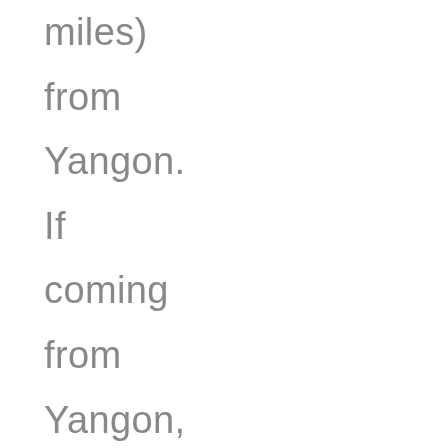(miles) from Yangon. If coming from Yangon, ride a bus or taxi. The bus can be found at the Aung Mingalar Bus Terminal (continues)